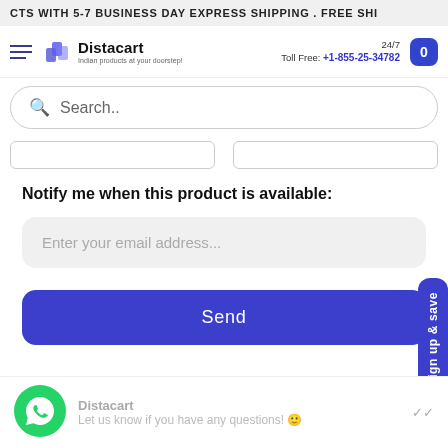CTS WITH 5-7 BUSINESS DAY EXPRESS SHIPPING . FREE SHI
[Figure (logo): Distacart logo with tagline 'Indian products at your doorstep!']
24/7 Toll Free: +1-855-25-34782
Search..
Notify me when this product is available:
Enter your email address...
Send
sign up & save
Distacart
Let us know if you have any questions! 😊